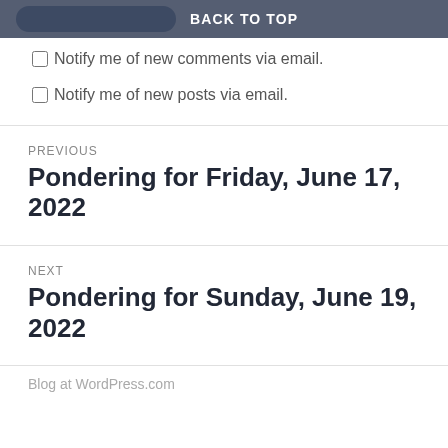BACK TO TOP
Notify me of new comments via email.
Notify me of new posts via email.
PREVIOUS
Pondering for Friday, June 17, 2022
NEXT
Pondering for Sunday, June 19, 2022
Blog at WordPress.com